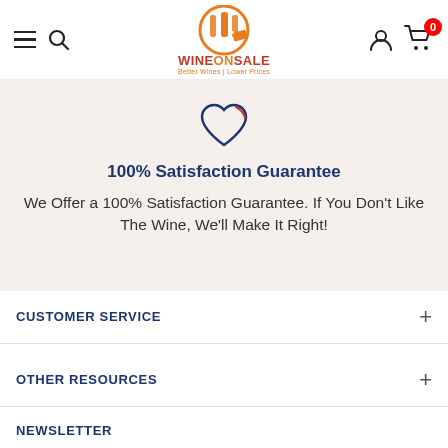WineOnSale — Better Wines | Lower Prices
[Figure (illustration): Heart outline icon in navy blue with a small red curved accent at the top right]
100% Satisfaction Guarantee
We Offer a 100% Satisfaction Guarantee. If You Don't Like The Wine, We'll Make It Right!
CUSTOMER SERVICE
OTHER RESOURCES
NEWSLETTER